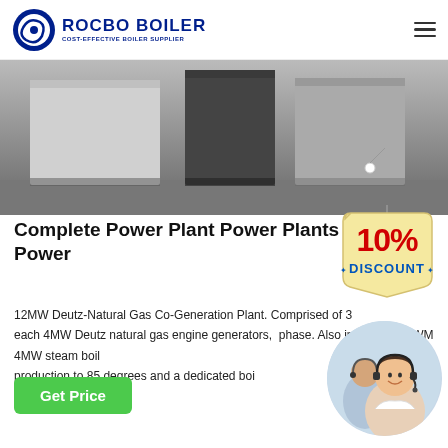[Figure (logo): Rocbo Boiler logo with circular icon and text 'ROCBO BOILER - COST-EFFECTIVE BOILER SUPPLIER']
[Figure (photo): Industrial boilers or large equipment units in black and white/gray tones]
Complete Power Plant Power Plants Power
[Figure (illustration): 10% DISCOUNT badge/tag in red and blue on a tan hanging tag shape]
12MW Deutz-Natural Gas Co-Generation Plant. Comprised of 3 each 4MW Deutz natural gas engine generators, phase. Also included a MWM 4MW steam boil production to 85 degrees and a dedicated boi
[Figure (photo): Customer service representative woman with headset smiling, circular crop]
Get Price